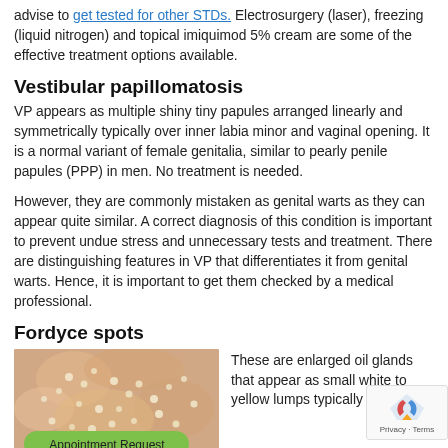advise to get tested for other STDs. Electrosurgery (laser), freezing (liquid nitrogen) and topical imiquimod 5% cream are some of the effective treatment options available.
Vestibular papillomatosis
VP appears as multiple shiny tiny papules arranged linearly and symmetrically typically over inner labia minor and vaginal opening. It is a normal variant of female genitalia, similar to pearly penile papules (PPP) in men. No treatment is needed.
However, they are commonly mistaken as genital warts as they can appear quite similar. A correct diagnosis of this condition is important to prevent undue stress and unnecessary tests and treatment. There are distinguishing features in VP that differentiates it from genital warts. Hence, it is important to get them checked by a medical professional.
Fordyce spots
[Figure (photo): Close-up photo of skin showing Fordyce spots with small white/yellow bumps on skin surface. An 'Appointment Request' green button overlays the bottom of the image.]
These are enlarged oil glands that appear as small white to yellow lumps typically